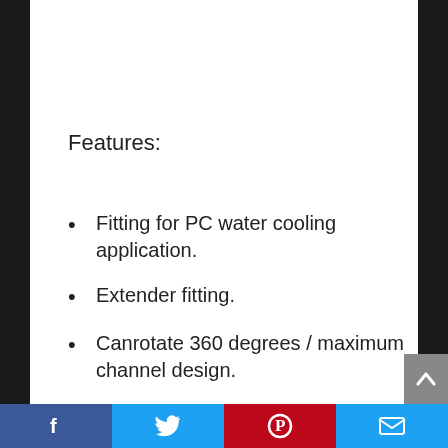Features:
Fitting for PC water cooling application.
Extender fitting.
Canrotate 360 degrees / maximum channel design.
Exterior design for water cooling system.
Embedded O ring design.
The advanced design reduces coolant flow restriction.
The nickel plated brass construction
f  Twitter  P  mail